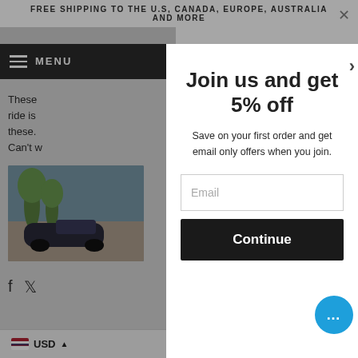FREE SHIPPING TO THE U.S, CANADA, EUROPE, AUSTRALIA AND MORE
These
ride is
these.
Can't w
[Figure (photo): Thumbnail image of a car on a road with palm trees]
Join us and get 5% off
Save on your first order and get email only offers when you join.
Email
Continue